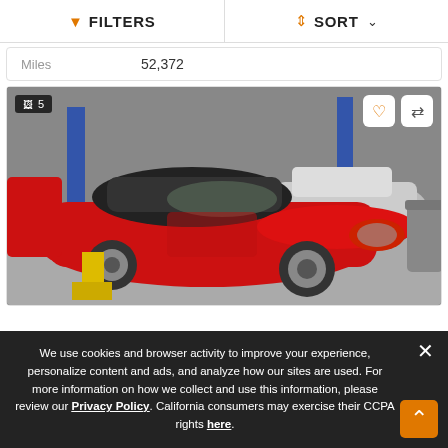FILTERS   SORT
| Miles | 52,372 |
| --- | --- |
[Figure (photo): Red Porsche 911 convertible with black soft top in a car dealership garage. Several other vehicles visible in background including a silver Mercedes. Yellow lift equipment on the floor. Photo counter shows 5 images. Heart and compare icons in top right corner.]
We use cookies and browser activity to improve your experience, personalize content and ads, and analyze how our sites are used. For more information on how we collect and use this information, please review our Privacy Policy. California consumers may exercise their CCPA rights here.